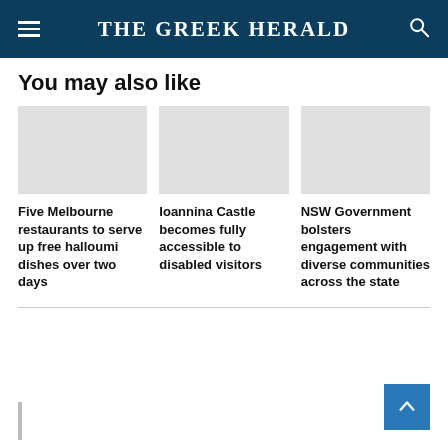THE GREEK HERALD
You may also like
Five Melbourne restaurants to serve up free halloumi dishes over two days
Ioannina Castle becomes fully accessible to disabled visitors
NSW Government bolsters engagement with diverse communities across the state